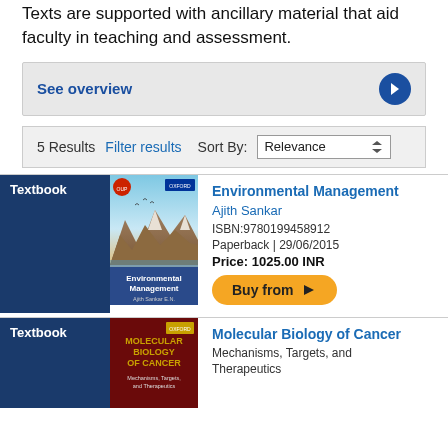Texts are supported with ancillary material that aid faculty in teaching and assessment.
See overview
5 Results   Filter results   Sort By:   Relevance
Textbook
[Figure (photo): Cover of textbook 'Environmental Management' by Ajith Sankar E.N., showing mountains, sky and birds]
Environmental Management
Ajith Sankar
ISBN:9780199458912
Paperback | 29/06/2015
Price: 1025.00 INR
Buy from
Textbook
[Figure (photo): Cover of textbook 'Molecular Biology of Cancer']
Molecular Biology of Cancer
Mechanisms, Targets, and Therapeutics